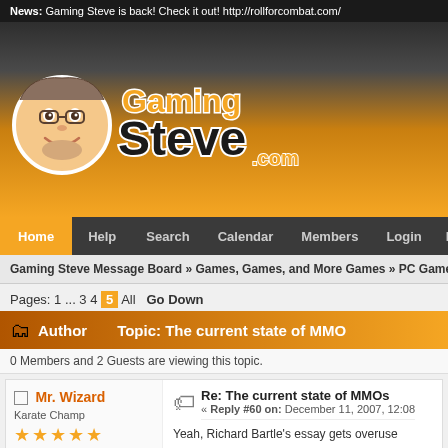News: Gaming Steve is back! Check it out! http://rollforcombat.com/
[Figure (logo): Gaming Steve.com logo with cartoon face]
Home  Help  Search  Calendar  Members  Login  Register
Gaming Steve Message Board » Games, Games, and More Games » PC Games » To
Pages: 1 ... 3 4 [5] All   Go Down
Author   Topic: The current state of MMO
0 Members and 2 Guests are viewing this topic.
Mr. Wizard
Karate Champ
★★★★★
Re: The current state of MMOs
« Reply #60 on: December 11, 2007, 12:08
Yeah, Richard Bartle's essay gets overuse